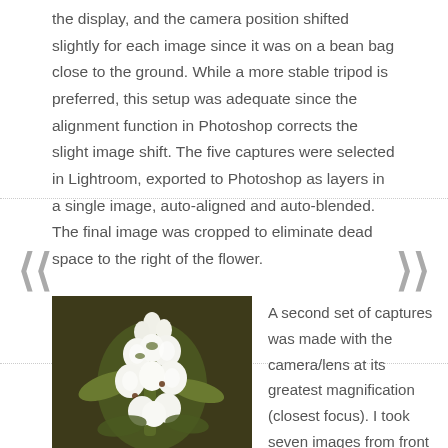the display, and the camera position shifted slightly for each image since it was on a bean bag close to the ground.  While a more stable tripod is preferred, this setup was adequate since the alignment function in Photoshop corrects the slight image shift.  The five captures were selected in Lightroom, exported to Photoshop as layers in a single image, auto-aligned and auto-blended.  The final image was cropped to eliminate dead space to the right of the flower.
[Figure (photo): A close-up photograph of white orchid flowers (Spiranthes or similar) with green stems against a dark olive/brown background.]
A second set of captures was made with the camera/lens at its greatest magnification (closest focus).  I took seven images from front to back at f/8 at 1/25th